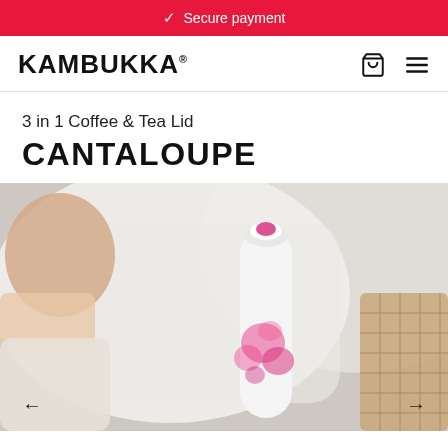✓ Secure payment
KAMBUKKA®
3 in 1 Coffee & Tea Lid
CANTALOUPE
[Figure (photo): A Kambukka Cantaloupe thermos bottle with floral pink pattern lying on white textured cushions, with a hand reaching toward it and wooden basket beside it. Navigation arrows visible on left and right.]